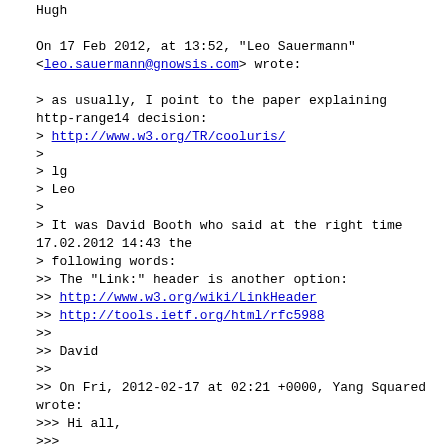Hugh

On 17 Feb 2012, at 13:52, "Leo Sauermann" <leo.sauermann@gnowsis.com> wrote:

> as usually, I point to the paper explaining http-range14 decision:
> http://www.w3.org/TR/cooluris/
>
> lg
> Leo
>
> It was David Booth who said at the right time 17.02.2012 14:43 the
> following words:
>> The "Link:" header is another option:
>> http://www.w3.org/wiki/LinkHeader
>> http://tools.ietf.org/html/rfc5988
>>
>> David
>>
>> On Fri, 2012-02-17 at 02:21 +0000, Yang Squared wrote:
>>> Hi all,
>>>
>>>
>>> I have a Web architecture question here.
>>>
>>>